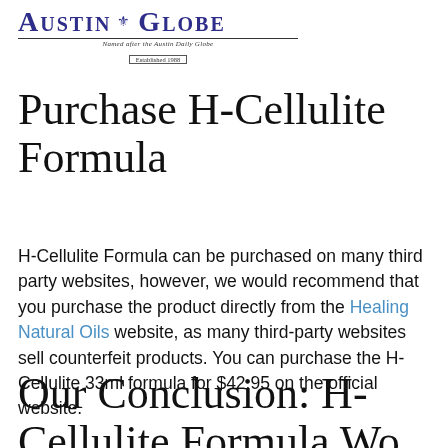AUSTIN GLOBE — Named after the Austin Daily Globe — Established 1988
Purchase H-Cellulite Formula
H-Cellulite Formula can be purchased on many third party websites, however, we would recommend that you purchase the product directly from the Healing Natural Oils website, as many third-party websites sell counterfeit products. You can purchase the H-Cellulite 33ml formula for $42.95 on the official website.
Our Conclusion: H-Cellulite Formula Wo...